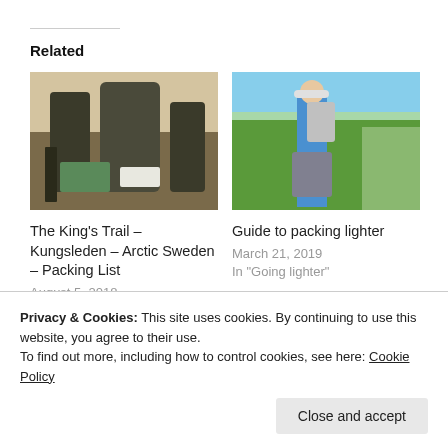Related
[Figure (photo): Hiking gear and backpacks laid out on a wooden floor]
[Figure (photo): Person standing in a green field wearing a blue shirt and carrying a backpack, with a cap on]
The King's Trail – Kungsleden – Arctic Sweden – Packing List
August 5, 2018
In "Abisko to Nikkaluokta via Kårsavagge 2018"
Guide to packing lighter
March 21, 2019
In "Going lighter"
Privacy & Cookies: This site uses cookies. By continuing to use this website, you agree to their use.
To find out more, including how to control cookies, see here: Cookie Policy